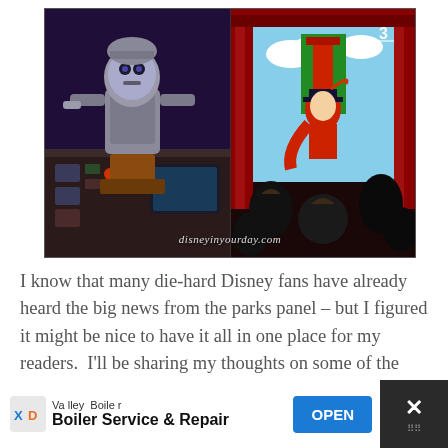[Figure (photo): Two side-by-side images: left shows a robot character (cylindrical metallic head) at a control panel in a dark sci-fi setting; right shows a Disney animated cartoon screen with a villain character (Captain Hook-like) in a theater setting with red curtains. Watermark reads 'disneyinyourday.com'.]
I know that many die-hard Disney fans have already heard the big news from the parks panel – but I figured it might be nice to have it all in one place for my readers.  I'll be sharing my thoughts on some of the additions and changes in a later post, but for now I've [...]
[Figure (screenshot): Advertisement bar at bottom: Valley Boiler - Boiler Service & Repair with OPEN button and close X button.]